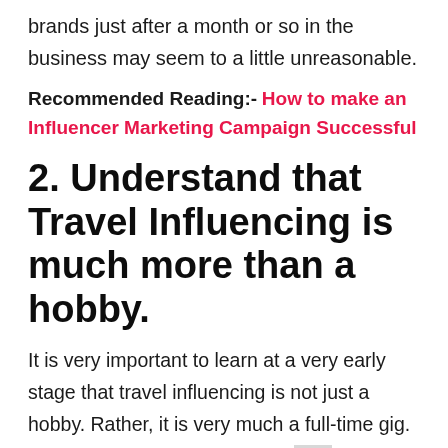brands just after a month or so in the business may seem to a little unreasonable.
Recommended Reading:- How to make an Influencer Marketing Campaign Successful
2. Understand that Travel Influencing is much more than a hobby.
It is very important to learn at a very early stage that travel influencing is not just a hobby. Rather, it is very much a full-time gig. So, make it very clear that it is very much possible that you might not taste success in this